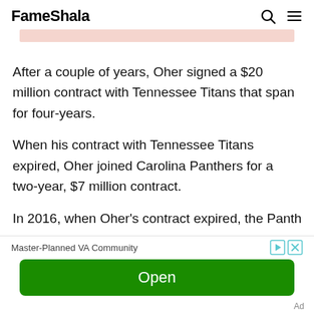FameShala
[Figure (other): Pink/salmon colored banner image strip (partially visible)]
After a couple of years, Oher signed a $20 million contract with Tennessee Titans that span for four-years.
When his contract with Tennessee Titans expired, Oher joined Carolina Panthers for a two-year, $7 million contract.
In 2016, when Oher's contract expired, the Panthers
[Figure (other): Advertisement banner: 'Master-Planned VA Community' with play and close icons, green Open button]